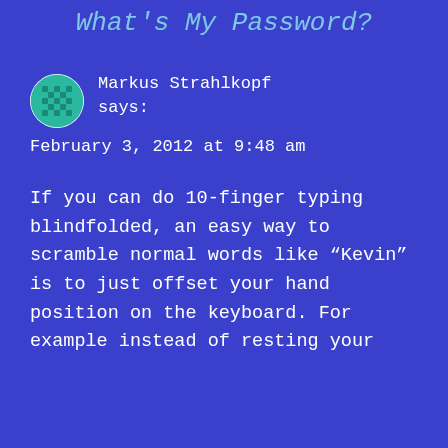What's My Password?
Markus Strahlkopf says:
February 3, 2012 at 9:48 am
If you can do 10-finger typing blindfolded, an easy way to scramble normal words like “Kevin” is to just offset your hand position on the keyboard. For example instead of resting your